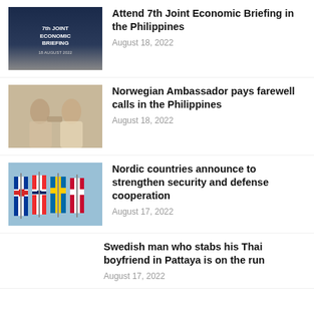[Figure (photo): Dark blue background with text '7th JOINT ECONOMIC BRIEFING' in white, dated August 2022]
Attend 7th Joint Economic Briefing in the Philippines
August 18, 2022
[Figure (photo): Two people shaking hands indoors, blurred background]
Norwegian Ambassador pays farewell calls in the Philippines
August 18, 2022
[Figure (photo): Nordic flags (Iceland, Norway, Sweden, Denmark) flying against a blue sky]
Nordic countries announce to strengthen security and defense cooperation
August 17, 2022
Swedish man who stabs his Thai boyfriend in Pattaya is on the run
August 17, 2022